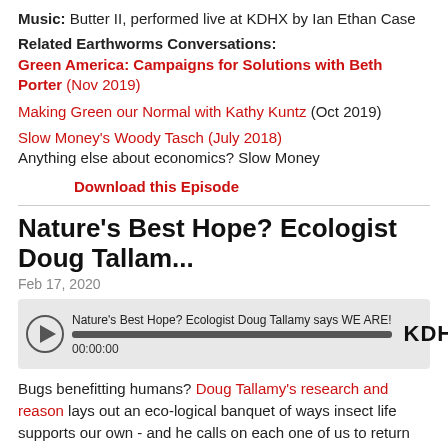Music: Butter II, performed live at KDHX by Ian Ethan Case
Related Earthworms Conversations:
Green America: Campaigns for Solutions with Beth Porter (Nov 2019)
Making Green our Normal with Kathy Kuntz (Oct 2019)
Slow Money's Woody Tasch (July 2018)
Anything else about economics? Slow Money
Download this Episode
Nature's Best Hope? Ecologist Doug Tallam...
Feb 17, 2020
[Figure (other): Audio player widget for 'Nature's Best Hope? Ecologist Doug Tallamy says WE ARE!' showing play button, progress bar at 00:00:00, and KDHX logo]
Bugs benefitting humans? Doug Tallamy's research and reason lays out an eco-logical banquet of ways insect life supports our own - and he calls on each one of us to return the favor, by growing native plants. Tallamy's message is passionate and practical - and clear enough for us ALL to take to heart.
[Figure (photo): Thumbnail photo showing a green outdoor/nature scene]